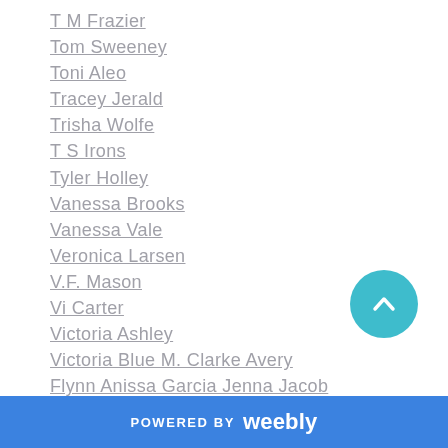T M Frazier
Tom Sweeney
Toni Aleo
Tracey Jerald
Trisha Wolfe
T S Irons
Tyler Holley
Vanessa Brooks
Vanessa Vale
Veronica Larsen
V.F. Mason
Vi Carter
Victoria Ashley
Victoria Blue M. Clarke Avery
Flynn Anissa Garcia Jenna Jacob
Isabella LaPearl Mickey Miller
Lauren Rowe K.M. Scott Sierra
POWERED BY weebly